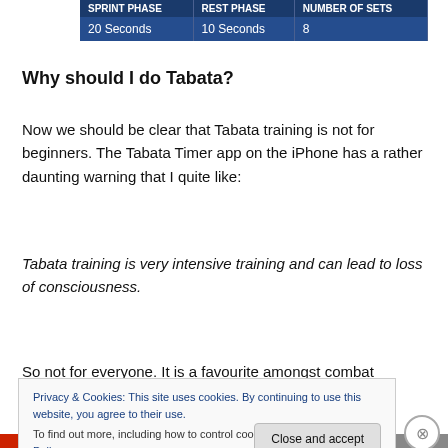| Sprint Phase | Rest Phase | Number of Sets |
| --- | --- | --- |
| 20 Seconds | 10 Seconds | 8 |
Why should I do Tabata?
Now we should be clear that Tabata training is not for beginners. The Tabata Timer app on the iPhone has a rather daunting warning that I quite like:
Tabata training is very intensive training and can lead to loss of consciousness.
So not for everyone. It is a favourite amongst combat
Privacy & Cookies: This site uses cookies. By continuing to use this website, you agree to their use.
To find out more, including how to control cookies, see here: Cookie Policy